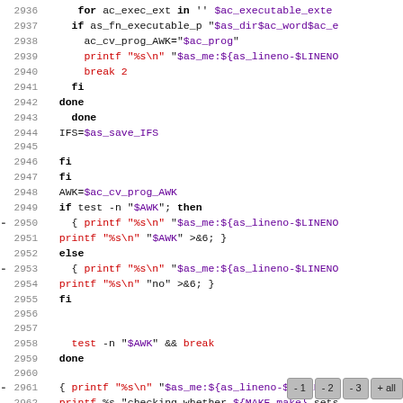[Figure (screenshot): Shell script source code viewer showing lines 2936–2965 with syntax highlighting. Keywords in bold black, strings in red, variables in purple. A diff marker '-' appears on lines 2950, 2953, 2961. Navigation buttons (-1, -2, -3, +all) appear in the bottom-right corner overlaying line 2963.]